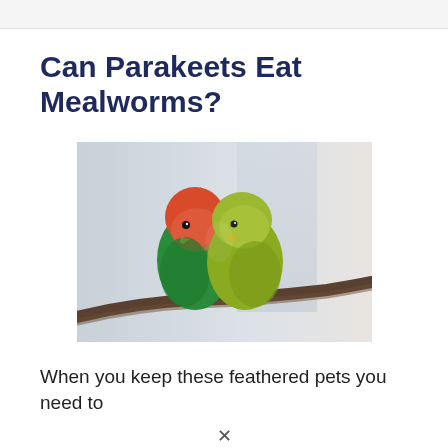Can Parakeets Eat Mealworms?
[Figure (photo): Two lovebird parakeets (one with red/orange head and green body, one with green/yellow plumage) snuggled together on a bare branch, with a blurred light-grey background.]
When you keep these feathered pets you need to